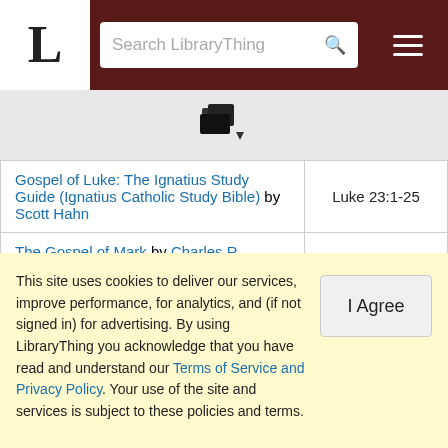LibraryThing header with logo and search bar
[Figure (other): Books/library icon with small dropdown arrow]
| Book | Reference |
| --- | --- |
| Gospel of Luke: The Ignatius Study Guide (Ignatius Catholic Study Bible) by Scott Hahn | Luke 23:1-25 |
| The Gospel of Mark by Charles R. Erdman | Mark 15:1-15 |
| The Gospel of Mark by John R. Donahue | Mark 15:1-15 |
| The Gospel of Mark (The Bible Study Textbook Series) by B. W. Johnson | Mark 15:1-15 |
| The Gospel of Mark (The New Century Bible Commentary) by Hugh Anderson | Mark 15:1-15 |
This site uses cookies to deliver our services, improve performance, for analytics, and (if not signed in) for advertising. By using LibraryThing you acknowledge that you have read and understand our Terms of Service and Privacy Policy. Your use of the site and services is subject to these policies and terms.